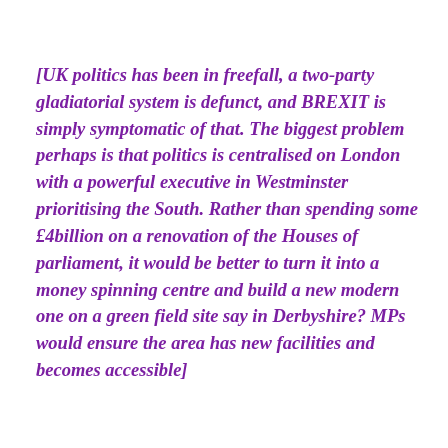[UK politics has been in freefall, a two-party gladiatorial system is defunct, and BREXIT is simply symptomatic of that. The biggest problem perhaps is that politics is centralised on London with a powerful executive in Westminster prioritising the South. Rather than spending some £4billion on a renovation of the Houses of parliament, it would be better to turn it into a money spinning centre and build a new modern one on a green field site say in Derbyshire? MPs would ensure the area has new facilities and becomes accessible]